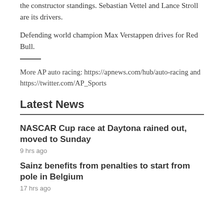the constructor standings. Sebastian Vettel and Lance Stroll are its drivers.
Defending world champion Max Verstappen drives for Red Bull.
More AP auto racing: https://apnews.com/hub/auto-racing and https://twitter.com/AP_Sports
Latest News
NASCAR Cup race at Daytona rained out, moved to Sunday
9 hrs ago
Sainz benefits from penalties to start from pole in Belgium
17 hrs ago